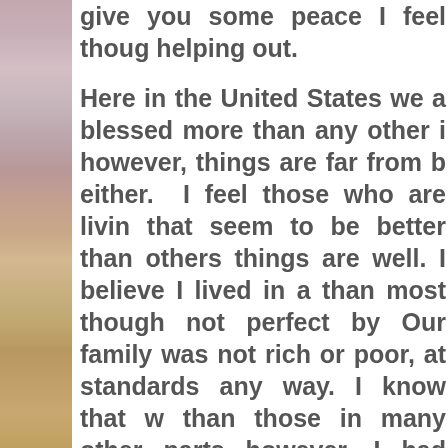[Figure (photo): Left side vertical strip showing a beach or desert landscape photo with sandy/earthy tones and muted pinkish-purple sky]
give you some peace I feel though helping out.

Here in the United States we a blessed more than any other i however, things are far from b either. I feel those who are livin that seem to be better than others things are well. I believe I lived in a than most though not perfect by Our family was not rich or poor, at standards any way. I know that w than those in many other parts however, I had difficult times gro problems did not happen at home time, but, I did have hard times a even times before I started a s